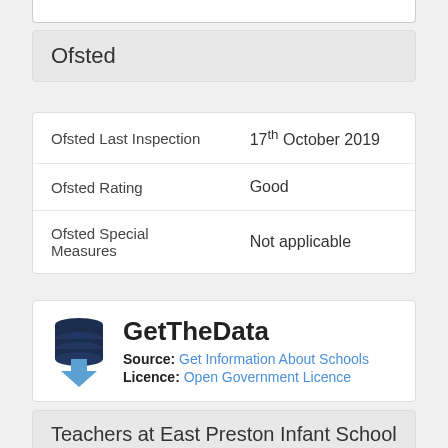Ofsted
| Field | Value |
| --- | --- |
| Ofsted Last Inspection | 17th October 2019 |
| Ofsted Rating | Good |
| Ofsted Special Measures | Not applicable |
[Figure (logo): GetTheData logo — stacked database cylinders with a downward arrow]
GetTheData
Source: Get Information About Schools
Licence: Open Government Licence
Teachers at East Preston Infant School